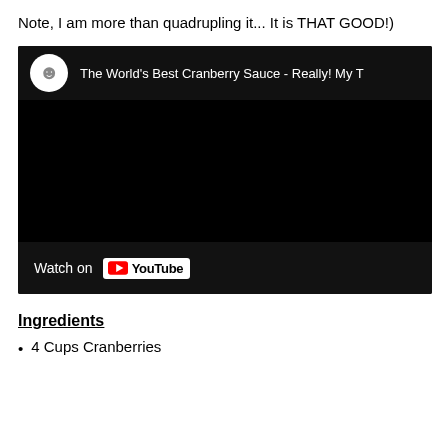Note, I am more than quadrupling it... It is THAT GOOD!)
[Figure (screenshot): YouTube video embed showing 'The World's Best Cranberry Sauce - Really! My T...' with a channel icon, black video area, and 'Watch on YouTube' button.]
Ingredients
4 Cups Cranberries